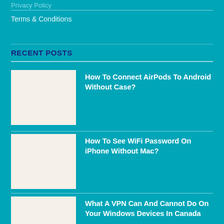Privacy Policy
Terms & Conditions
RECENT POSTS
How To Connect AirPods To Android Without Case?
How To See WiFi Password On iPhone Without Mac?
What A VPN Can And Cannot Do On Your Windows Devices In Canada